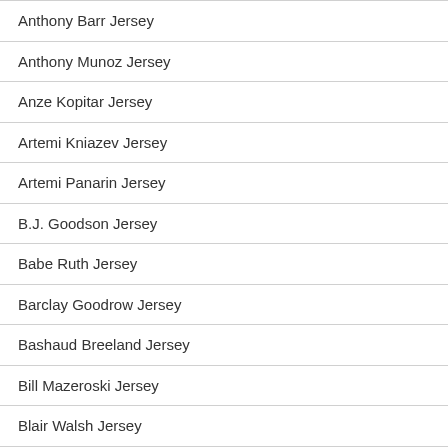Anthony Barr Jersey
Anthony Munoz Jersey
Anze Kopitar Jersey
Artemi Kniazev Jersey
Artemi Panarin Jersey
B.J. Goodson Jersey
Babe Ruth Jersey
Barclay Goodrow Jersey
Bashaud Breeland Jersey
Bill Mazeroski Jersey
Blair Walsh Jersey